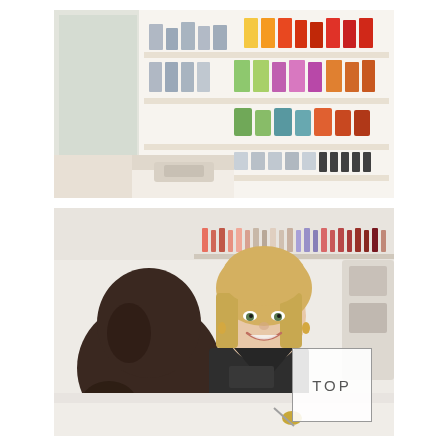[Figure (photo): Interior of a beauty salon or spa retail area showing white shelving units stocked with colorful product bottles and containers arranged in rainbow order (yellow, orange, red, green, purple, blue/grey tones), with a white reception counter in the foreground.]
[Figure (photo): A smiling blonde female beauty therapist in a dark uniform sits across a white counter consulting with a dark-haired female client whose back is to the camera. In the background are shelves lined with nail polish bottles in various colors. A 'TOP' button box is overlaid in the bottom-right corner.]